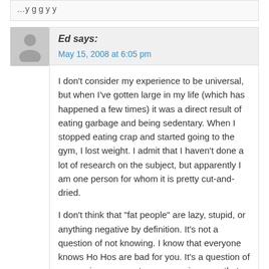(partial text cut off at top)
Ed says:
May 15, 2008 at 6:05 pm
I don't consider my experience to be universal, but when I've gotten large in my life (which has happened a few times) it was a direct result of eating garbage and being sedentary. When I stopped eating crap and started going to the gym, I lost weight. I admit that I haven't done a lot of research on the subject, but apparently I am one person for whom it is pretty cut-and-dried.
I don't think that "fat people" are lazy, stupid, or anything negative by definition. It's not a question of not knowing. I know that everyone knows Ho Hos are bad for you. It's a question of expressing concern to someone in a way that makes the